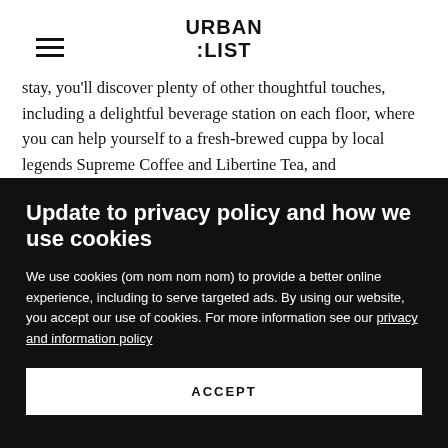URBAN :LIST
stay, you'll discover plenty of other thoughtful touches, including a delightful beverage station on each floor, where you can help yourself to a fresh-brewed cuppa by local legends Supreme Coffee and Libertine Tea, and complimentary baked treats each morning. There's also a
Update to privacy policy and how we use cookies
We use cookies (om nom nom nom) to provide a better online experience, including to serve targeted ads. By using our website, you accept our use of cookies. For more information see our privacy and information policy
ACCEPT